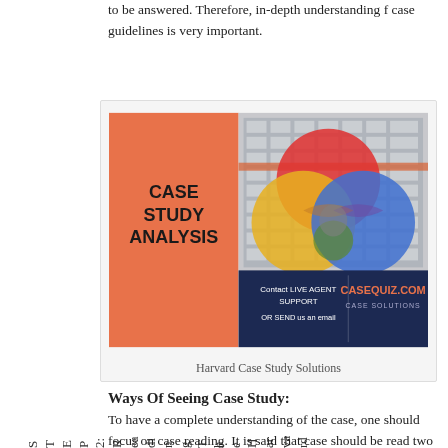to be answered. Therefore, in-depth understanding f case guidelines is very important.
STEP 2: Reading The Harvard
[Figure (illustration): Case Study Analysis book cover with Venn diagram of colored circles (red, yellow, blue, green, gray/purple overlapping), building in background, and CASEQUIZ.COM Case Solutions branding at bottom]
Harvard Case Study Solutions
Ways Of Seeing Case Study:
To have a complete understanding of the case, one should focus on case reading. It is said that case should be read two times. Initially, fast reading without